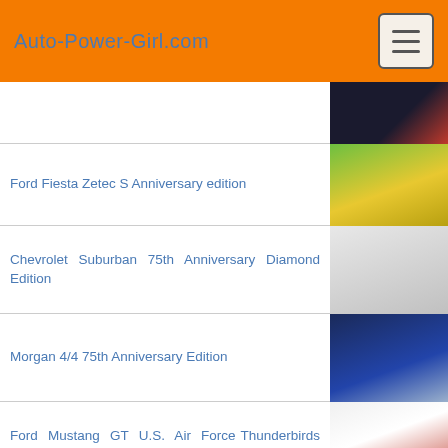Auto-Power-Girl.com
(partial entry - top cut off)
Ford Fiesta Zetec S Anniversary edition
Chevrolet Suburban 75th Anniversary Diamond Edition
Morgan 4/4 75th Anniversary Edition
Ford Mustang GT U.S. Air Force Thunderbirds Edition